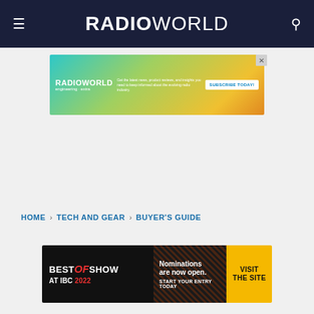RADIOWORLD
[Figure (screenshot): RadioWorld engineering extra advertisement banner with gradient background (teal to yellow-orange), logo, subscribe text, and SUBSCRIBE TODAY button]
HOME › TECH AND GEAR › BUYER'S GUIDE
[Figure (screenshot): Best of Show at IBC 2022 advertisement banner. Left section: dark background with BEST OF SHOW AT IBC 2022 text. Middle: diagonal striped background with 'Nominations are now open. START YOUR ENTRY TODAY'. Right: yellow button with VISIT THE SITE]